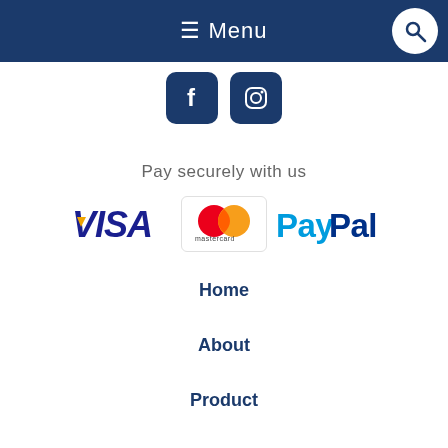≡ Menu
[Figure (logo): Facebook and Instagram social media icons in dark blue rounded squares]
Pay securely with us
[Figure (logo): VISA logo (blue/yellow), Mastercard logo (red/orange overlapping circles with 'mastercard' text), PayPal logo (blue Pay + dark blue Pal)]
Home
About
Product
Specials
Gallery